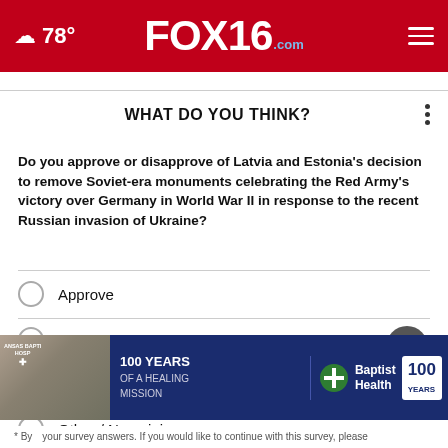FOX16.com — 78°
WHAT DO YOU THINK?
Do you approve or disapprove of Latvia and Estonia's decision to remove Soviet-era monuments celebrating the Red Army's victory over Germany in World War II in response to the recent Russian invasion of Ukraine?
Approve
Neutral
Disapprove
Other / No opinion
[Figure (infographic): Baptist Health 100 Years of a Healing Mission advertisement banner with grayscale hospital photo]
* By submitting your survey answers. If you would like to continue with this survey, please